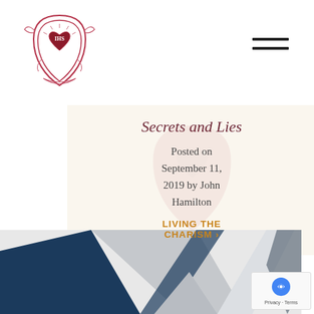[Figure (logo): Jesuit school crest/coat of arms in red and pink tones with IHS monogram]
[Figure (other): Hamburger/navigation menu icon — three horizontal dark lines]
Secrets and Lies
Posted on September 11, 2019 by John Hamilton
LIVING THE CHARISM ›
[Figure (illustration): Abstract geometric illustration with dark navy blue and grey angular shapes suggesting opened books or papers]